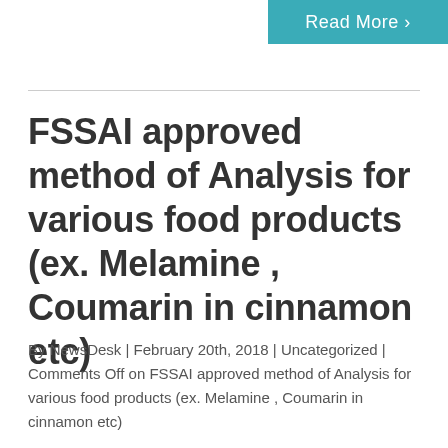[Figure (other): Teal 'Read More >' button in the top-right corner]
FSSAI approved method of Analysis for various food products (ex. Melamine , Coumarin in cinnamon etc)
By NewsDesk | February 20th, 2018 | Uncategorized | Comments Off on FSSAI approved method of Analysis for various food products (ex. Melamine , Coumarin in cinnamon etc)